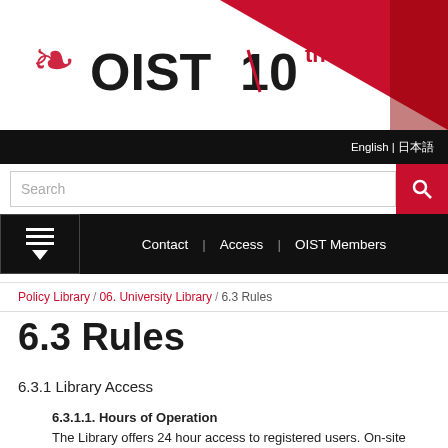[Figure (logo): OIST 10th anniversary logo with decorative red emblem on left and OIST 10th text]
English | 日本語
Search
Contact | Access | OIST Members
Policy Library / 06. University Library / 6.3 Rules
6.3 Rules
6.3.1 Library Access
6.3.1.1. Hours of Operation
The Library offers 24 hour access to registered users. On-site Library assistance will be provided from 9:00am to 5:30 pm from Monday to Friday except holidays and new year holidays.